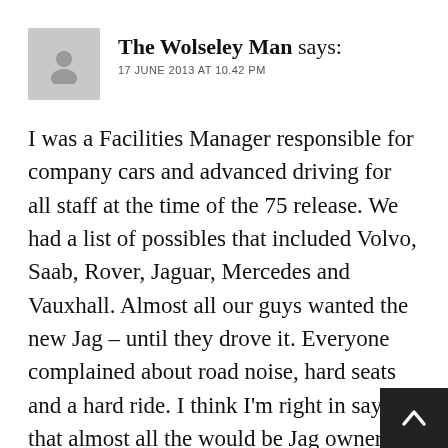The Wolseley Man says:
17 JUNE 2013 AT 10.42 PM
I was a Facilities Manager responsible for company cars and advanced driving for all staff at the time of the 75 release. We had a list of possibles that included Volvo, Saab, Rover, Jaguar, Mercedes and Vauxhall. Almost all our guys wanted the new Jag – until they drove it. Everyone complained about road noise, hard seats and a hard ride. I think I'm right in saying that almost all the would be Jag owners chose the Rover once they had driven them both. I